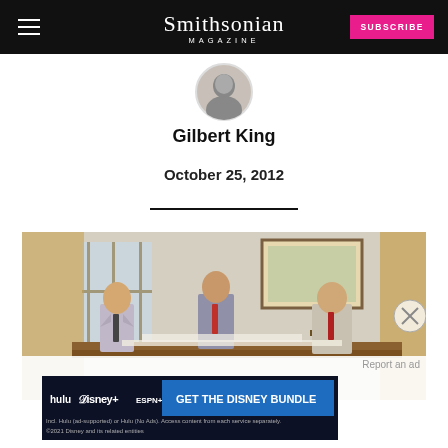Smithsonian Magazine | SUBSCRIBE
[Figure (photo): Circular portrait photo of author Gilbert King]
Gilbert King
October 25, 2012
[Figure (photo): Photograph showing three men in business attire seated at a table in what appears to be the Oval Office, with paintings, curtains, and a bronze sculpture visible in the background]
[Figure (other): Advertisement banner: GET THE DISNEY BUNDLE - hulu, Disney+, ESPN+. Incl. Hulu (ad-supported) or Hulu (No Ads). Access content from each service separately. ©2021 Disney and its related entities]